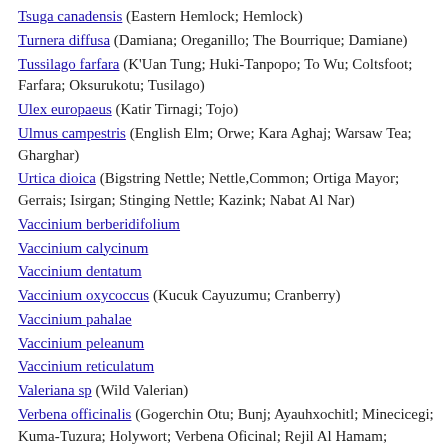Tsuga canadensis (Eastern Hemlock; Hemlock)
Turnera diffusa (Damiana; Oreganillo; The Bourrique; Damiane)
Tussilago farfara (K'Uan Tung; Huki-Tanpopo; To Wu; Coltsfoot; Farfara; Oksurukotu; Tusilago)
Ulex europaeus (Katir Tirnagi; Tojo)
Ulmus campestris (English Elm; Orwe; Kara Aghaj; Warsaw Tea; Gharghar)
Urtica dioica (Bigstring Nettle; Nettle,Common; Ortiga Mayor; Gerrais; Isirgan; Stinging Nettle; Kazink; Nabat Al Nar)
Vaccinium berberidifolium
Vaccinium calycinum
Vaccinium dentatum
Vaccinium oxycoccus (Kucuk Cayuzumu; Cranberry)
Vaccinium pahalae
Vaccinium peleanum
Vaccinium reticulatum
Valeriana sp (Wild Valerian)
Verbena officinalis (Gogerchin Otu; Bunj; Ayauhxochitl; Minecicegi; Kuma-Tuzura; Holywort; Verbena Oficinal; Rejil Al Hamam; Vervain; Verbena; Ma Pien Ts'Ao)
Veronica americana